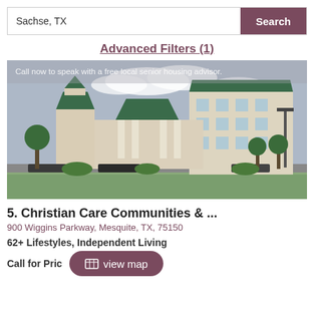Sachse, TX
Search
Advanced Filters (1)
[Figure (photo): Exterior photo of a large multi-story building with green roofs and white columns, resembling a senior living community or hotel, with trees and parking lot in foreground. Overlay text reads: Call now to speak with a free local senior housing advisor.]
5. Christian Care Communities & ...
900 Wiggins Parkway, Mesquite, TX, 75150
62+ Lifestyles, Independent Living
Call for Price
view map